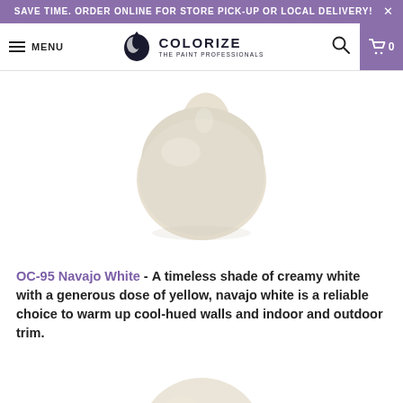SAVE TIME. ORDER ONLINE FOR STORE PICK-UP OR LOCAL DELIVERY!
MENU | COLORIZE THE PAINT PROFESSIONALS | Search | Cart 0
[Figure (illustration): A paint drop blob in a creamy off-white/navajo white color on a white background.]
OC-95 Navajo White - A timeless shade of creamy white with a generous dose of yellow, navajo white is a reliable choice to warm up cool-hued walls and indoor and outdoor trim.
[Figure (illustration): Top portion of a second paint drop blob in a very light creamy white color, partially visible at the bottom of the page.]